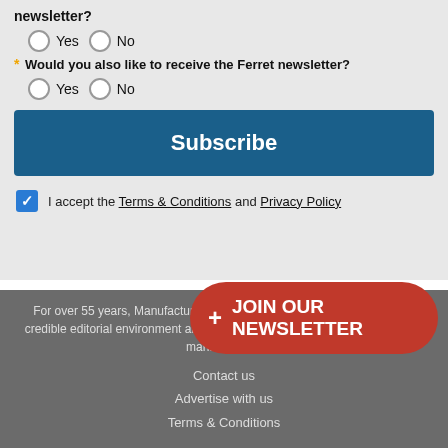newsletter?
Yes / No (radio buttons)
* Would you also like to receive the Ferret newsletter?
Yes / No (radio buttons)
Subscribe
I accept the Terms & Conditions and Privacy Policy
+ JOIN OUR NEWSLETTER
For over 55 years, Manufacturing... manufacturing industries with its highly credible editorial environment and its acclaimed analysis of issues affecting manufacturing
Contact us
Advertise with us
Terms & Conditions